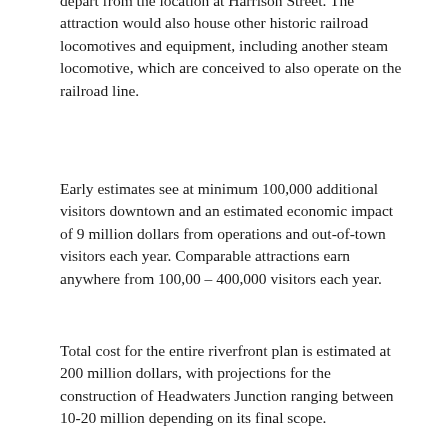depart from the location at Harrison Street. The attraction would also house other historic railroad locomotives and equipment, including another steam locomotive, which are conceived to also operate on the railroad line.
Early estimates see at minimum 100,000 additional visitors downtown and an estimated economic impact of 9 million dollars from operations and out-of-town visitors each year. Comparable attractions earn anywhere from 100,00 – 400,000 visitors each year.
Total cost for the entire riverfront plan is estimated at 200 million dollars, with projections for the construction of Headwaters Junction ranging between 10-20 million depending on its final scope.